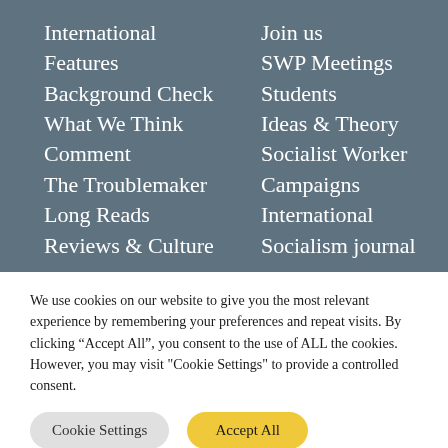International
Features
Background Check
What We Think
Comment
The Troublemaker
Long Reads
Reviews & Culture
Join us
SWP Meetings
Students
Ideas & Theory
Socialist Worker
Campaigns
International
Socialism journal
We use cookies on our website to give you the most relevant experience by remembering your preferences and repeat visits. By clicking “Accept All”, you consent to the use of ALL the cookies. However, you may visit "Cookie Settings" to provide a controlled consent.
Cookie Settings | Accept All